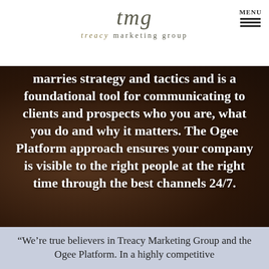tmg treacy marketing group
marries strategy and tactics and is a foundational tool for communicating to clients and prospects who you are, what you do and why it matters. The Ogee Platform approach ensures your company is visible to the right people at the right time through the best channels 24/7.
“We’re true believers in Treacy Marketing Group and the Ogee Platform. In a highly competitive